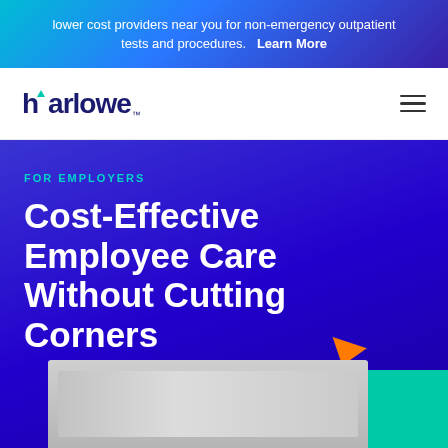lower cost providers near you for non-emergency outpatient tests and procedures. Learn More
[Figure (logo): Harlowe logo with teal accent mark]
FOR EMPLOYERS
Cost-Effective Employee Care Without Cutting Corners
[Figure (photo): Medical facility / healthcare interior photo with decorative teal and colored triangle shapes]